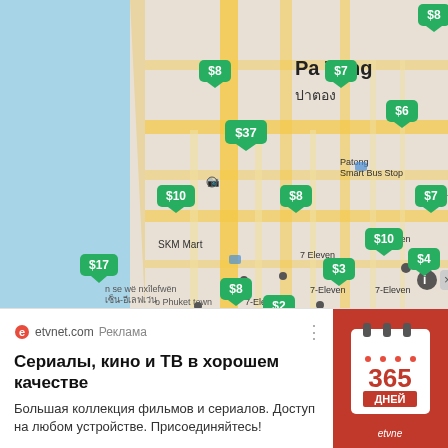[Figure (map): Map of Pa Tong (Patong), Phuket area showing hotel/accommodation price markers in green bubbles ($2, $3, $4, $6, $7, $8, $8, $8, $8, $10, $10, $17, $37) overlaid on a street map with labels including SKM Mart, FamilyMart, 7-Eleven locations, Patong Smart Bus Stop, Pa Tong city name in English and Thai (ปาตอง).]
etvnet.com Реклама
Сериалы, кино и ТВ в хорошем качестве
Большая коллекция фильмов и сериалов. Доступ на любом устройстве. Присоединяйтесь!